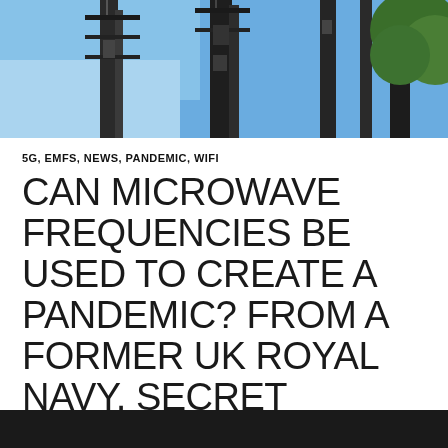[Figure (photo): Photograph of telecommunications tower/antenna masts against a blue sky with green foliage visible on the right side.]
5G, EMFS, NEWS, PANDEMIC, WIFI
CAN MICROWAVE FREQUENCIES BE USED TO CREATE A PANDEMIC? FROM A FORMER UK ROYAL NAVY, SECRET SERVICE PHYSICIST
MARCH 2, 2020   PAM VERNON